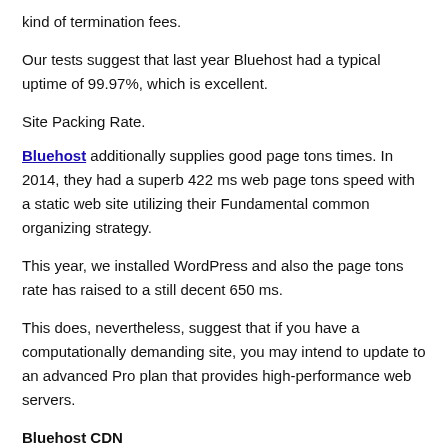kind of termination fees.
Our tests suggest that last year Bluehost had a typical uptime of 99.97%, which is excellent.
Site Packing Rate.
Bluehost additionally supplies good page tons times. In 2014, they had a superb 422 ms web page tons speed with a static web site utilizing their Fundamental common organizing strategy.
This year, we installed WordPress and also the page tons rate has raised to a still decent 650 ms.
This does, nevertheless, suggest that if you have a computationally demanding site, you may intend to update to an advanced Pro plan that provides high-performance web servers.
Bluehost CDN